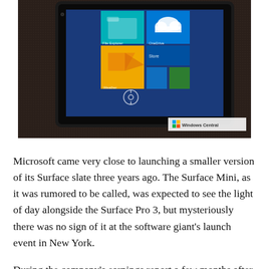[Figure (photo): A Microsoft Surface tablet photographed at an angle on a textured dark fabric surface, showing the Windows 8 Start screen with colorful tiles on a blue background. A Windows Central watermark logo appears in the bottom-right corner of the image.]
Microsoft came very close to launching a smaller version of its Surface slate three years ago. The Surface Mini, as it was rumored to be called, was expected to see the light of day alongside the Surface Pro 3, but mysteriously there was no sign of it at the software giant's launch event in New York.
During the company's earnings report a few months after the launch event, Microsoft admitted it had been